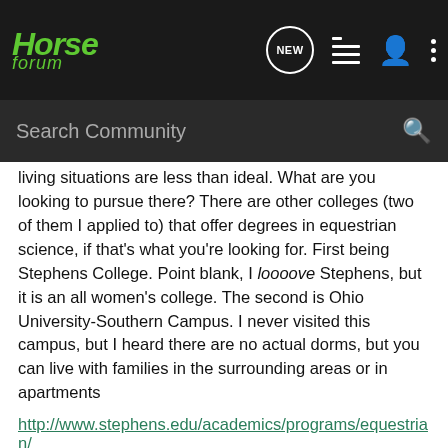[Figure (screenshot): Horse Forum navigation bar with logo, NEW chat bubble icon, list icon, person icon, and vertical dots menu icon on dark background]
[Figure (screenshot): Dark search bar with 'Search Community' placeholder text and magnifying glass icon]
living situations are less than ideal. What are you looking to pursue there? There are other colleges (two of them I applied to) that offer degrees in equestrian science, if that's what you're looking for. First being Stephens College. Point blank, I loooove Stephens, but it is an all women's college. The second is Ohio University-Southern Campus. I never visited this campus, but I heard there are no actual dorms, but you can live with families in the surrounding areas or in apartments
http://www.stephens.edu/academics/programs/equestrian/
http://www.catalogs.ohio.edu/preview_program.php?catoid=16&poid=3549&returnto=789